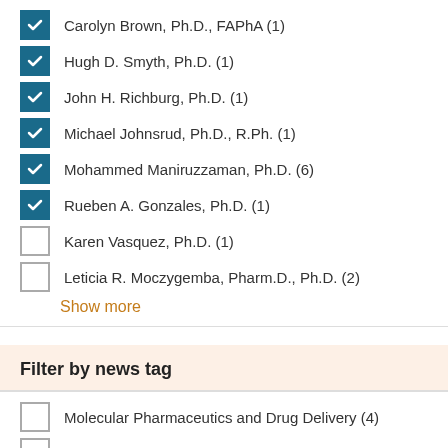Carolyn Brown, Ph.D., FAPhA (1)
Hugh D. Smyth, Ph.D. (1)
John H. Richburg, Ph.D. (1)
Michael Johnsrud, Ph.D., R.Ph. (1)
Mohammed Maniruzzaman, Ph.D. (6)
Rueben A. Gonzales, Ph.D. (1)
Karen Vasquez, Ph.D. (1)
Leticia R. Moczygemba, Pharm.D., Ph.D. (2)
Show more
Filter by news tag
Molecular Pharmaceutics and Drug Delivery (4)
3D-printing (1)